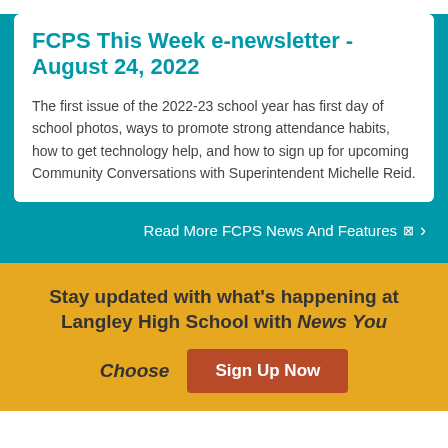FCPS This Week e-newsletter - August 24, 2022
The first issue of the 2022-23 school year has first day of school photos, ways to promote strong attendance habits, how to get technology help, and how to sign up for upcoming Community Conversations with Superintendent Michelle Reid.
Read More FCPS News And Features
Stay updated with what's happening at Langley High School with News You Choose
Sign Up Now